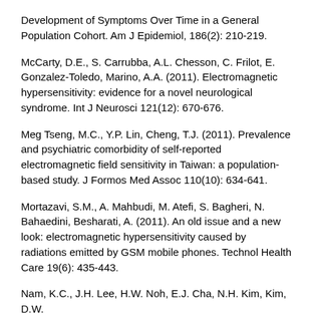Development of Symptoms Over Time in a General Population Cohort. Am J Epidemiol, 186(2): 210-219.
McCarty, D.E., S. Carrubba, A.L. Chesson, C. Frilot, E. Gonzalez-Toledo, Marino, A.A. (2011). Electromagnetic hypersensitivity: evidence for a novel neurological syndrome. Int J Neurosci 121(12): 670-676.
Meg Tseng, M.C., Y.P. Lin, Cheng, T.J. (2011). Prevalence and psychiatric comorbidity of self-reported electromagnetic field sensitivity in Taiwan: a population-based study. J Formos Med Assoc 110(10): 634-641.
Mortazavi, S.M., A. Mahbudi, M. Atefi, S. Bagheri, N. Bahaedini, Besharati, A. (2011). An old issue and a new look: electromagnetic hypersensitivity caused by radiations emitted by GSM mobile phones. Technol Health Care 19(6): 435-443.
Nam, K.C., J.H. Lee, H.W. Noh, E.J. Cha, N.H. Kim, Kim, D.W.